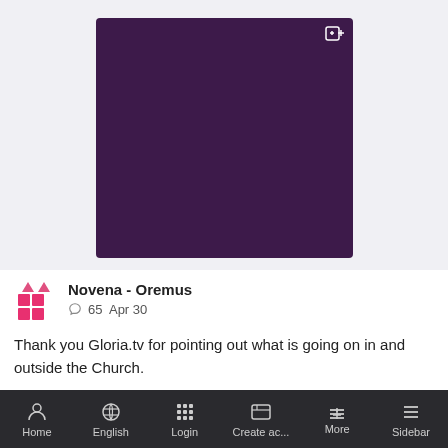[Figure (photo): Dark purple/maroon colored square image placeholder with a zoom icon in the top-right corner]
Novena - Oremus
65   Apr 30
Thank you Gloria.tv for pointing out what is going on in and outside the Church.
👍 😍 Like   Share   More
Home   English   Login   Create ac...   More   Sidebar